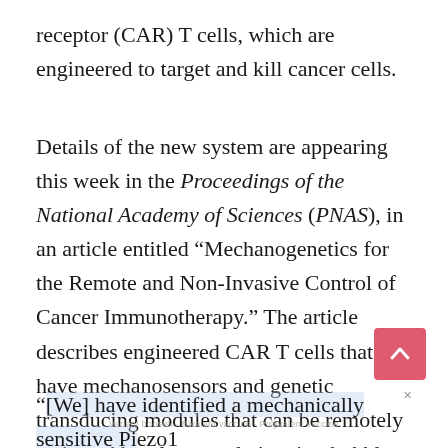receptor (CAR) T cells, which are engineered to target and kill cancer cells.
Details of the new system are appearing this week in the Proceedings of the National Academy of Sciences (PNAS), in an article entitled “Mechanogenetics for the Remote and Non-Invasive Control of Cancer Immunotherapy.” The article describes engineered CAR T cells that have mechanosensors and genetic transducing modules that can be remotely activated by ultrasound via microbubble amplification.
“[We] have identified a mechanically sensitive Piezo1 ion channel (mechanosensor) that is activatable by